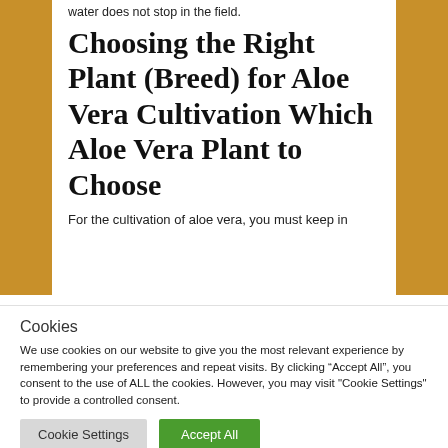water does not stop in the field.
Choosing the Right Plant (Breed) for Aloe Vera Cultivation Which Aloe Vera Plant to Choose
For the cultivation of aloe vera, you must keep in
Cookies
We use cookies on our website to give you the most relevant experience by remembering your preferences and repeat visits. By clicking “Accept All”, you consent to the use of ALL the cookies. However, you may visit "Cookie Settings" to provide a controlled consent.
Cookie Settings | Accept All